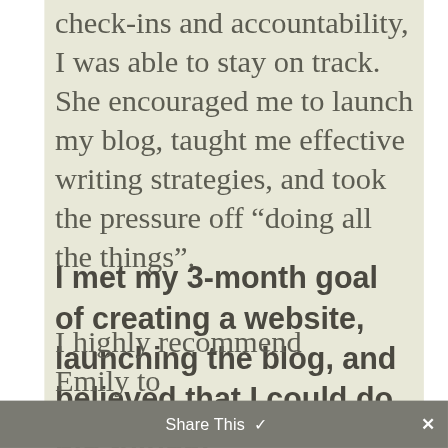check-ins and accountability, I was able to stay on track. She encouraged me to launch my blog, taught me effective writing strategies, and took the pressure off “doing all the things”.
I met my 3-month goal of creating a website, launching the blog, and believed that I could do big things!
I highly recommend Emily to
Share This ✓  ×